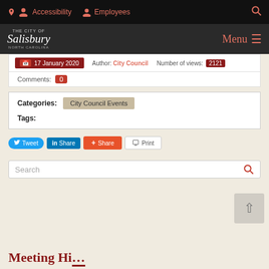Accessibility   Employees   Search
[Figure (logo): The City of Salisbury, North Carolina logo with Menu navigation button]
17 January 2020   Author: City Council   Number of views: 2121
Comments: 0
Categories: City Council Events
Tags:
Tweet   Share   Share   Print
Search
Meeting Hi...